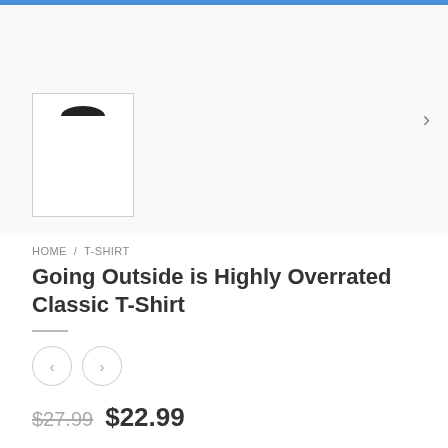[Figure (photo): Product thumbnail image of a t-shirt showing collar/neckline against white background, inside a bordered square]
HOME / T-SHIRT
Going Outside is Highly Overrated Classic T-Shirt
< >
$27.99  $22.99